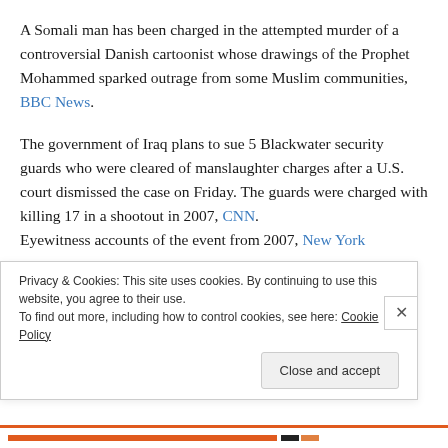A Somali man has been charged in the attempted murder of a controversial Danish cartoonist whose drawings of the Prophet Mohammed sparked outrage from some Muslim communities, BBC News.
The government of Iraq plans to sue 5 Blackwater security guards who were cleared of manslaughter charges after a U.S. court dismissed the case on Friday. The guards were charged with killing 17 in a shootout in 2007, CNN. Eyewitness accounts of the event from 2007, New York
Privacy & Cookies: This site uses cookies. By continuing to use this website, you agree to their use.
To find out more, including how to control cookies, see here: Cookie Policy
Close and accept